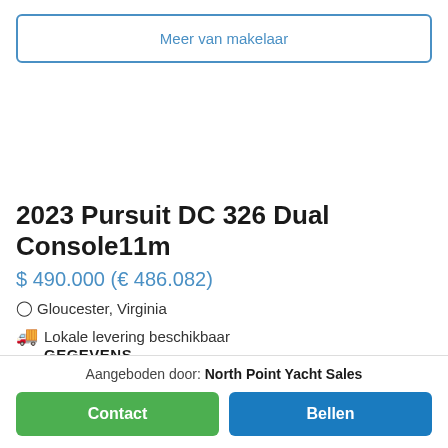Meer van makelaar
2023 Pursuit DC 326 Dual Console 11m
$ 490.000 (€ 486.082)
Gloucester, Virginia
Lokale levering beschikbaar
GEGEVENS
Aangeboden door: North Point Yacht Sales
Contact
Bellen